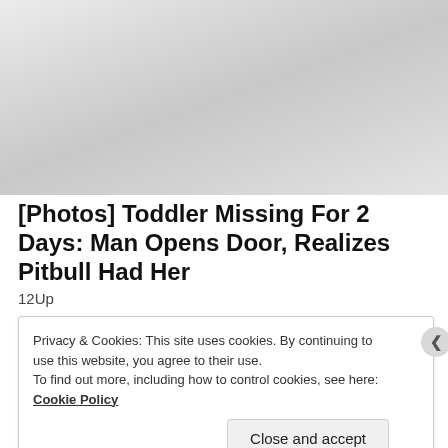[Figure (photo): Faded/washed out photo area at top of webpage screenshot]
[Photos] Toddler Missing For 2 Days: Man Opens Door, Realizes Pitbull Had Her
12Up
Privacy & Cookies: This site uses cookies. By continuing to use this website, you agree to their use.
To find out more, including how to control cookies, see here: Cookie Policy
Close and accept